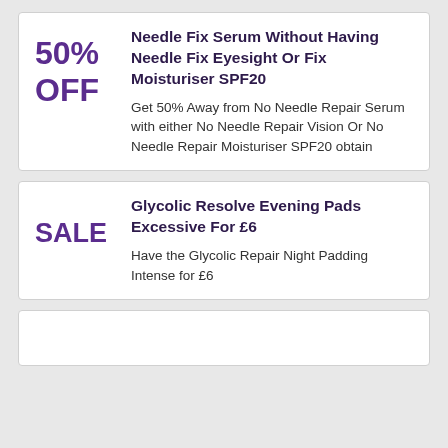Needle Fix Serum Without Having Needle Fix Eyesight Or Fix Moisturiser SPF20
Get 50% Away from No Needle Repair Serum with either No Needle Repair Vision Or No Needle Repair Moisturiser SPF20 obtain
Glycolic Resolve Evening Pads Excessive For £6
Have the Glycolic Repair Night Padding Intense for £6